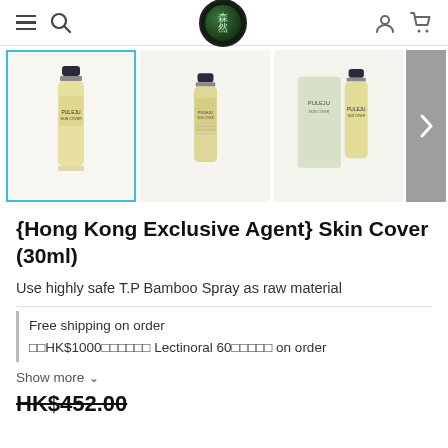Navigation bar with menu, search, logo, user and cart icons
[Figure (photo): Product image carousel showing three views of PULEJU Skin Cover 30ml bottle (a yellow/beige lotion bottle with dark cap), with navigation arrow on right]
{Hong Kong Exclusive Agent} Skin Cover (30ml)
Use highly safe T.P Bamboo Spray as raw material
Free shipping on order
??HK$1000?????? Lectinoral 60????? on order
Show more ∨
HK$452.00